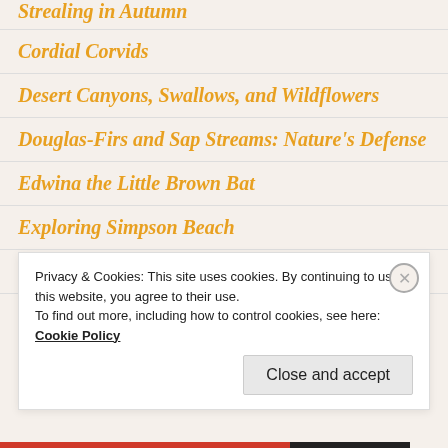Strealing in Autumn
Cordial Corvids
Desert Canyons, Swallows, and Wildflowers
Douglas-Firs and Sap Streams: Nature's Defense
Edwina the Little Brown Bat
Exploring Simpson Beach
Face to Face with a Black Bear
Privacy & Cookies: This site uses cookies. By continuing to use this website, you agree to their use.
To find out more, including how to control cookies, see here: Cookie Policy
Close and accept